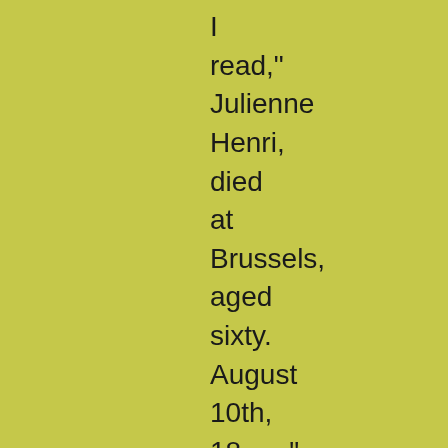I read," Julienne Henri, died at Brussels, aged sixty. August 10th, 18 - ." Having perused the inscription, I looked down